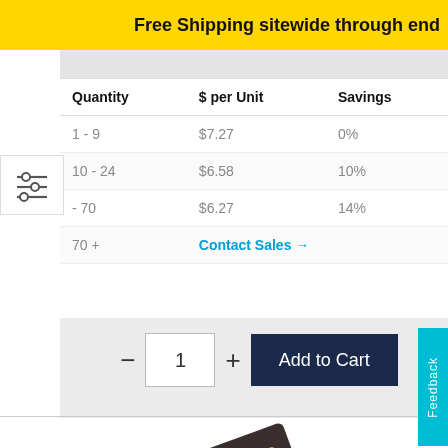Free Shipping sitewide through end
| Quantity | $ per Unit | Savings |
| --- | --- | --- |
| 1 - 9 | $7.27 | 0% |
| 10 - 24 | $6.58 | 10% |
| - 70 | $6.27 | 14% |
| 70 + | Contact Sales → |  |
[Figure (other): Quantity filter/slider icon with horizontal adjustment lines]
− 1 + Add to Cart
[Figure (photo): STMicroelectronics VL53L0X sensor chip photo with ST logo]